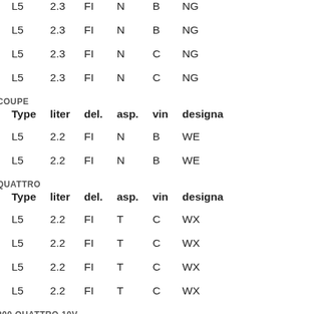| year | Type | liter | del. | asp. | vin | designa |
| --- | --- | --- | --- | --- | --- | --- |
| 1991 | L5 | 2.3 | FI | N | B | NG |
| 1990 | L5 | 2.3 | FI | N | B | NG |
| 1989 | L5 | 2.3 | FI | N | C | NG |
| 1988 | L5 | 2.3 | FI | N | C | NG |
| AUDI COUPE |
| year | Type | liter | del. | asp. | vin | designa |
| 1982 | L5 | 2.2 | FI | N | B | WE |
| 1981 | L5 | 2.2 | FI | N | B | WE |
| AUDI QUATTRO |
| year | Type | liter | del. | asp. | vin | designa |
| 1985 | L5 | 2.2 | FI | T | C | WX |
| 1984 | L5 | 2.2 | FI | T | C | WX |
| 1983 | L5 | 2.2 | FI | T | C | WX |
| 1982 | L5 | 2.2 | FI | T | C | WX |
| AUDI 200 QUATTRO 10V |
| year | Type | liter | del. | asp. | vin | designa |